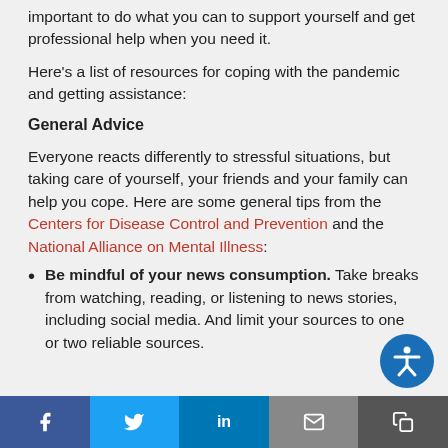important to do what you can to support yourself and get professional help when you need it.
Here's a list of resources for coping with the pandemic and getting assistance:
General Advice
Everyone reacts differently to stressful situations, but taking care of yourself, your friends and your family can help you cope. Here are some general tips from the Centers for Disease Control and Prevention and the National Alliance on Mental Illness:
Be mindful of your news consumption. Take breaks from watching, reading, or listening to news stories, including social media. And limit your sources to one or two reliable sources.
Share buttons: Facebook, Twitter, LinkedIn, Email, Copy